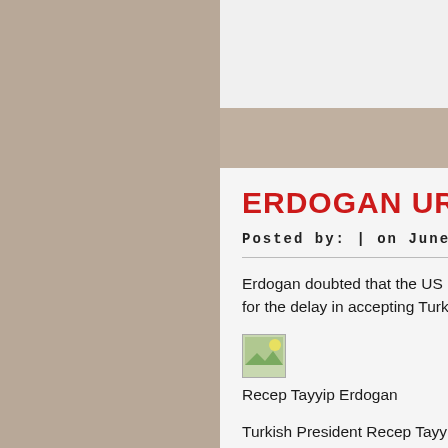ERDOGAN URGED NOT TO T
Posted by: | on June 13, 2022
Erdogan doubted that the US bases in Greece are in... for the delay in accepting Turkey into the association
[Figure (photo): Small thumbnail image placeholder]
Recep Tayyip Erdogan
Turkish President Recep Tayyip Erdogan believes tha... by TRT Haber.
He touched on this topic when talking about the dep... were built, they say: “Against Russia.” And what have for Ukraine, were you able to support Ukraine? All lies